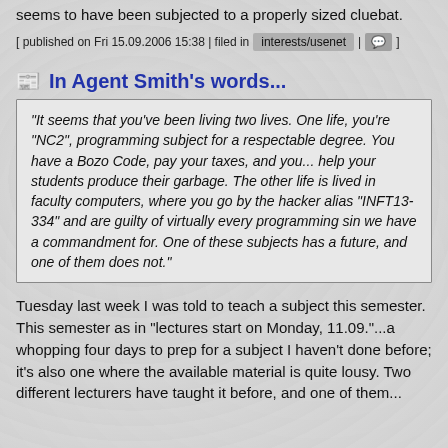seems to have been subjected to a properly sized cluebat.
[ published on Fri 15.09.2006 15:38 | filed in interests/usenet | 💬 ]
In Agent Smith's words...
"It seems that you've been living two lives. One life, you're "NC2", programming subject for a respectable degree. You have a Bozo Code, pay your taxes, and you... help your students produce their garbage. The other life is lived in faculty computers, where you go by the hacker alias "INFT13-334" and are guilty of virtually every programming sin we have a commandment for. One of these subjects has a future, and one of them does not."
Tuesday last week I was told to teach a subject this semester. This semester as in "lectures start on Monday, 11.09."...a whopping four days to prep for a subject I haven't done before; it's also one where the available material is quite lousy. Two different lecturers have taught it before, and one of them...